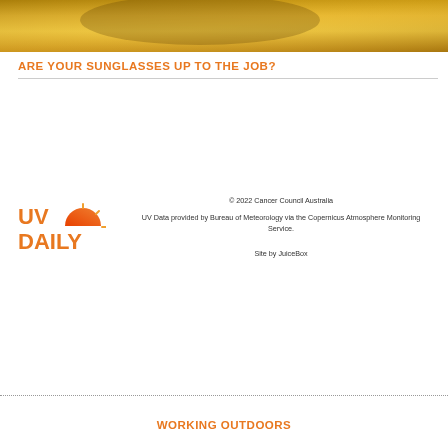[Figure (illustration): Golden/yellow gradient banner header image with warm tones]
ARE YOUR SUNGLASSES UP TO THE JOB?
[Figure (logo): UV Daily logo with orange sun icon and orange text reading UV DAILY]
© 2022 Cancer Council Australia
UV Data provided by Bureau of Meteorology via the Copernicus Atmosphere Monitoring Service.
Site by JuiceBox
WORKING OUTDOORS